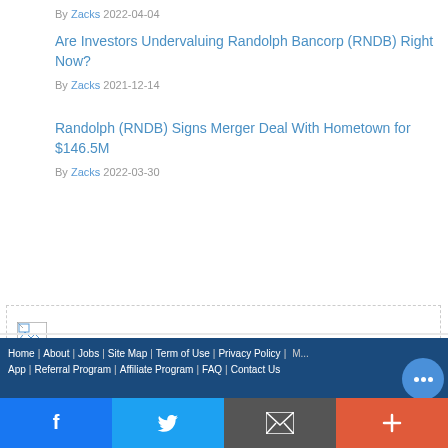By Zacks 2022-04-04
Are Investors Undervaluing Randolph Bancorp (RNDB) Right Now?
By Zacks 2021-12-14
Randolph (RNDB) Signs Merger Deal With Hometown for $146.5M
By Zacks 2022-03-30
[Figure (other): Advertisement placeholder with broken image icon]
Home About Jobs Site Map Term of Use Privacy Policy M... App Referral Program Affiliate Program FAQ Contact Us